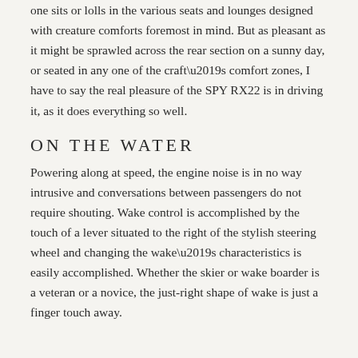one sits or lolls in the various seats and lounges designed with creature comforts foremost in mind. But as pleasant as it might be sprawled across the rear section on a sunny day, or seated in any one of the craft’s comfort zones, I have to say the real pleasure of the SPY RX22 is in driving it, as it does everything so well.
ON THE WATER
Powering along at speed, the engine noise is in no way intrusive and conversations between passengers do not require shouting. Wake control is accomplished by the touch of a lever situated to the right of the stylish steering wheel and changing the wake’s characteristics is easily accomplished. Whether the skier or wake boarder is a veteran or a novice, the just-right shape of wake is just a finger touch away.